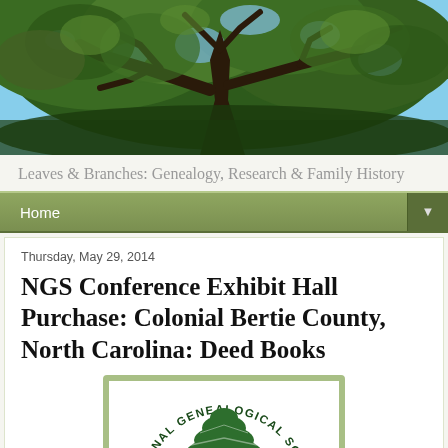[Figure (photo): Photograph looking up through a large tree canopy with green leaves against a blue sky, serving as the blog header image]
Leaves & Branches: Genealogy, Research & Family History
Home
Thursday, May 29, 2014
NGS Conference Exhibit Hall Purchase: Colonial Bertie County, North Carolina: Deed Books
[Figure (logo): National Genealogical Society (NGS) logo showing a green tree with text arcing around it reading 'NATIONAL GENEALOGICAL SOCIETY']